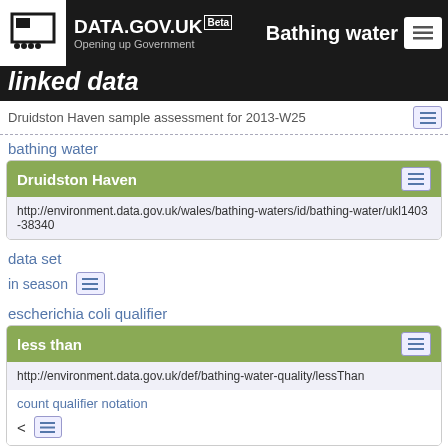DATA.GOV.UK Beta — Bathing water linked data
Druidston Haven sample assessment for 2013-W25
bathing water
Druidston Haven
http://environment.data.gov.uk/wales/bathing-waters/id/bathing-water/ukl1403-38340
data set
in season
escherichia coli qualifier
less than
http://environment.data.gov.uk/def/bathing-water-quality/lessThan
count qualifier notation
<
sample classification